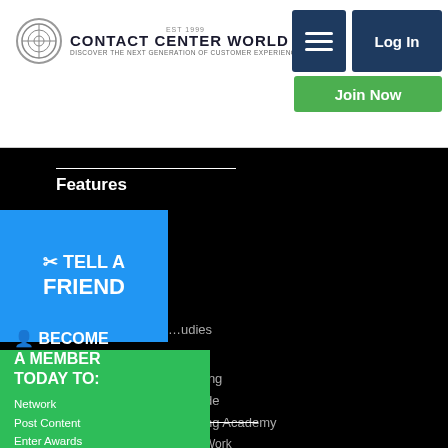Contact Center World — Discover The Next Generation Of Customer Experience
Log In
Join Now
Features
TELL A FRIEND
...udies
Research
...ing
...de
...ng Academy
...Work
...cial
...erence
...erence
BECOME A MEMBER TODAY TO: Network Post Content Enter Awards + Much More